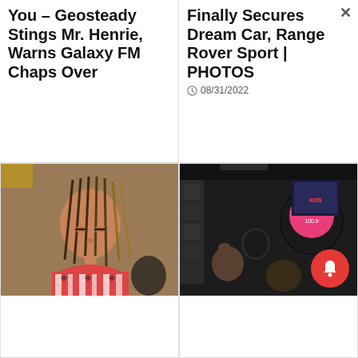You – Geosteady Stings Mr. Henrie, Warns Galaxy FM Chaps Over
Finally Secures Dream Car, Range Rover Sport | PHOTOS
08/31/2022
[Figure (photo): Young African woman with long braids looking down, wearing a red and white patterned top]
[Figure (photo): Radio studio scene with KIIS microphone, people visible behind equipment, dark background]